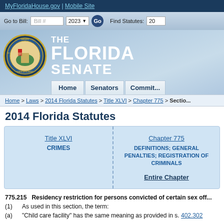MyFloridaHouse.gov | Mobile Site
Go to Bill: Bill # 2023 Go   Find Statutes: 20
[Figure (logo): The Florida Senate logo with Florida state seal and text THE FLORIDA SENATE]
Home | Senators | Commit...
Home > Laws > 2014 Florida Statutes > Title XLVI > Chapter 775 > Section...
2014 Florida Statutes
| Title XLVI | Chapter 775 |
| --- | --- |
| CRIMES | DEFINITIONS; GENERAL PENALTIES; REGISTRATION OF CRIMINALS |
|  | Entire Chapter |
775.215   Residency restriction for persons convicted of certain sex off...
(1)   As used in this section, the term:
(a)   "Child care facility" has the same meaning as provided in s. 402.302